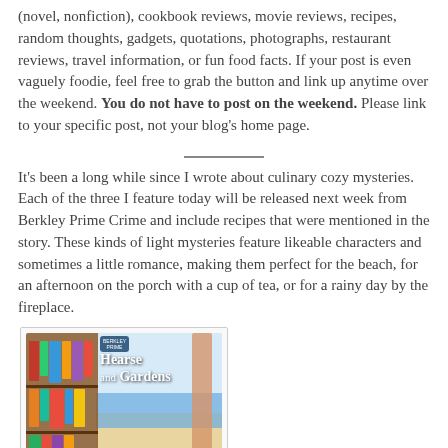(novel, nonfiction), cookbook reviews, movie reviews, recipes, random thoughts, gadgets, quotations, photographs, restaurant reviews, travel information, or fun food facts. If your post is even vaguely foodie, feel free to grab the button and link up anytime over the weekend. You do not have to post on the weekend. Please link to your specific post, not your blog's home page.
It's been a long while since I wrote about culinary cozy mysteries. Each of the three I feature today will be released next week from Berkley Prime Crime and include recipes that were mentioned in the story. These kinds of light mysteries feature likeable characters and sometimes a little romance, making them perfect for the beach, for an afternoon on the porch with a cup of tea, or for a rainy day by the fireplace.
[Figure (illustration): Book cover for 'Hearse and Gardens' showing a bookshelf on the left and a beach scene with curtains on the right, published by Berkley Prime Crime.]